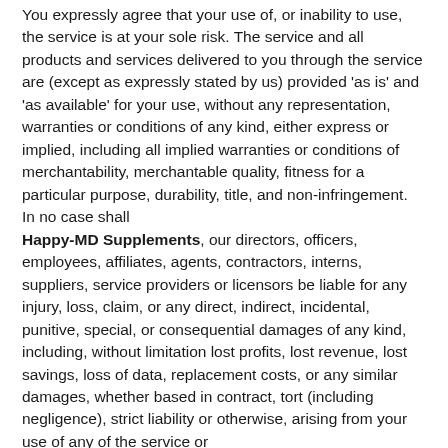You expressly agree that your use of, or inability to use, the service is at your sole risk. The service and all products and services delivered to you through the service are (except as expressly stated by us) provided 'as is' and 'as available' for your use, without any representation, warranties or conditions of any kind, either express or implied, including all implied warranties or conditions of merchantability, merchantable quality, fitness for a particular purpose, durability, title, and non-infringement. In no case shall
Happy-MD Supplements, our directors, officers, employees, affiliates, agents, contractors, interns, suppliers, service providers or licensors be liable for any injury, loss, claim, or any direct, indirect, incidental, punitive, special, or consequential damages of any kind, including, without limitation lost profits, lost revenue, lost savings, loss of data, replacement costs, or any similar damages, whether based in contract, tort (including negligence), strict liability or otherwise, arising from your use of any of the service or